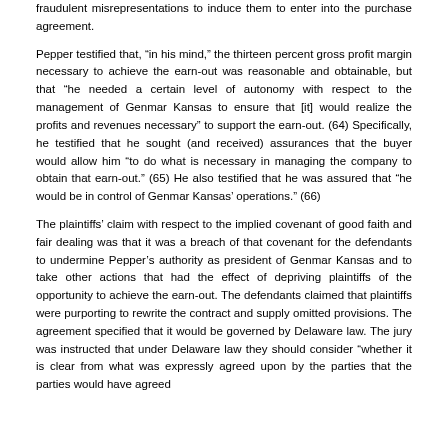fraudulent misrepresentations to induce them to enter into the purchase agreement.
Pepper testified that, “in his mind,” the thirteen percent gross profit margin necessary to achieve the earn-out was reasonable and obtainable, but that “he needed a certain level of autonomy with respect to the management of Genmar Kansas to ensure that [it] would realize the profits and revenues necessary” to support the earn-out. (64) Specifically, he testified that he sought (and received) assurances that the buyer would allow him “to do what is necessary in managing the company to obtain that earn-out.” (65) He also testified that he was assured that “he would be in control of Genmar Kansas’ operations.” (66)
The plaintiffs’ claim with respect to the implied covenant of good faith and fair dealing was that it was a breach of that covenant for the defendants to undermine Pepper’s authority as president of Genmar Kansas and to take other actions that had the effect of depriving plaintiffs of the opportunity to achieve the earn-out. The defendants claimed that plaintiffs were purporting to rewrite the contract and supply omitted provisions. The agreement specified that it would be governed by Delaware law. The jury was instructed that under Delaware law they should consider “whether it is clear from what was expressly agreed upon by the parties that the parties would have agreed to prohibit the conduct complained of as a breach of